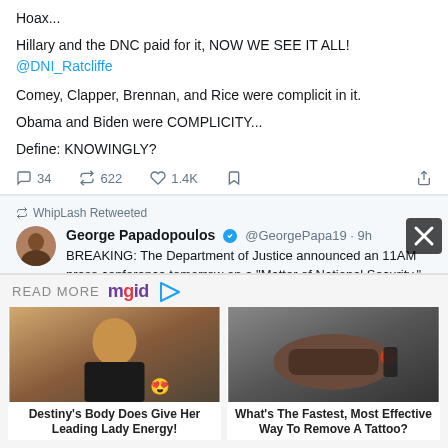Hoax...
Hillary and the DNC paid for it, NOW WE SEE IT ALL! @DNI_Ratcliffe
Comey, Clapper, Brennan, and Rice were complicit in it.
Obama and Biden were COMPLICITY...
Define: KNOWINGLY?
34 comments, 622 retweets, 1.4K likes
WhipLash Retweeted
George Papadopoulos @GeorgePapa19 · 9h — BREAKING: The Department of Justice announced an 11AM press conference tomorrow on a "Matter of National Security."
READ MORE mgid
[Figure (photo): Photo of a woman with curly hair in a black outfit, standing near a car]
Destiny's Body Does Give Her Leading Lady Energy!
[Figure (photo): Close-up photo of a tattoo removal procedure on someone's back/neck area]
What's The Fastest, Most Effective Way To Remove A Tattoo?